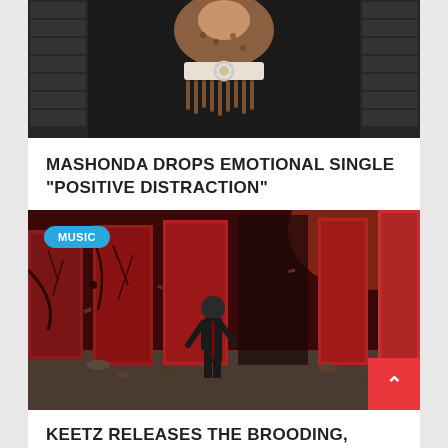[Figure (photo): Top portion of first article card showing a person wearing a fringed brown outfit with white belt with circular buckle, standing in front of dark cabinets/drawers]
MASHONDA DROPS EMOTIONAL SINGLE “POSITIVE DISTRACTION”
[Figure (illustration): Comic/animated style illustration of a lone figure in dark clothing standing in a red corridor with multiple red doors, debris on the ground, moody atmosphere. MUSIC badge overlay in top left. Red back-to-top button in bottom right with up arrow.]
KEETZ RELEASES THE BROODING,